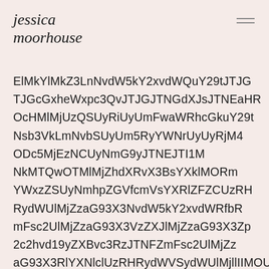jessica moorhouse
ElMkYlMkZ3LnNvdW5kY2xvdWQuY29tJTJGcGxheWxpc3QvJTJGJTNGdXJsJTNEaHROcHMlMjUzQSUyRiUyUmFwaWRhcGkuY29tJTJGSkdSb290bU9kaWNhdGlvbk9EYzVNakV6TkN VeU5tTnZiRzl5SlRORkpUSWxNakNrTVRRd09UTWxNalpoZFhyVjNCc1lYa2xNT1JtWVd4elp5Tm1ocFpHVmZjbVZzWVhSbFpDVXpSSIZEdVlITWpaYUc5M1gyCk52YlcxbGJuUnpKVE5FWm1Gc2MyVWxNalphRzkzW DNWelpYSWxNT1JRY25WbEpUSIxKVElJMmMyaHZkMTl5WlhCdmMzUmpKVE5FWm1Gc2MyVWxNalphRzkzWFpSbFl4Tmxjakl6UklaV1VsTWpsbEpUTkVOMFVsTWpsbEpUbEVNalpsSmIKWXBSTEpUSXhNalExSkFPVU0KME1JTWtacFpuSmhiV1VPVU9VPUZvciBteSBmaXJzdA==